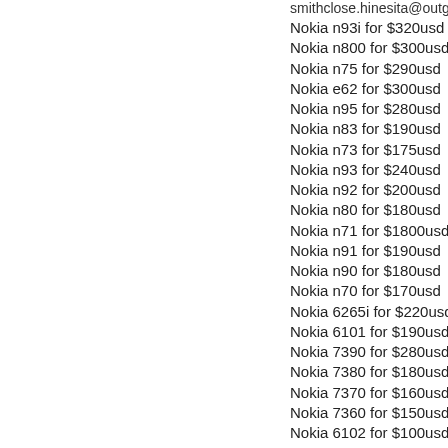smithclose.hinesita@outga...
Nokia n93i for $320usd
Nokia n800 for $300usd
Nokia n75 for $290usd
Nokia e62 for $300usd
Nokia n95 for $280usd
Nokia n83 for $190usd
Nokia n73 for $175usd
Nokia n93 for $240usd
Nokia n92 for $200usd
Nokia n80 for $180usd
Nokia n71 for $1800usd
Nokia n91 for $190usd
Nokia n90 for $180usd
Nokia n70 for $170usd
Nokia 6265i for $220usd
Nokia 6101 for $190usd
Nokia 7390 for $280usd
Nokia 7380 for $180usd
Nokia 7370 for $160usd
Nokia 7360 for $150usd
Nokia 6102 for $100usd
Nokia e70 for $280usd